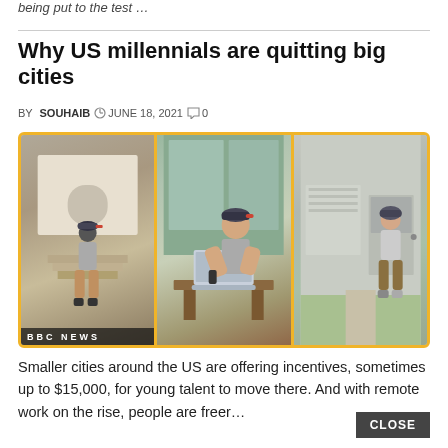being put to the test …
Why US millennials are quitting big cities
BY SOUHAIB  JUNE 18, 2021  0
[Figure (photo): Three-panel photo collage with yellow border: (1) man walking up stairs toward a house, (2) man working on laptop outdoors, (3) man standing in front of a small house. BBC News watermark at bottom left.]
Smaller cities around the US are offering incentives, sometimes up to $15,000, for young talent to move there. And with remote work on the rise, people are freer…